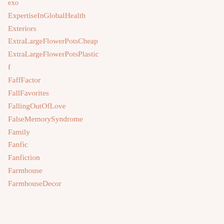exo
ExpertiseInGlobalHealth
Exteriors
ExtraLargeFlowerPotsCheap
ExtraLargeFlowerPotsPlastic
f
FaffFactor
FallFavorites
FallingOutOfLove
FalseMemorySyndrome
Family
Fanfic
Fanfiction
Farmhouse
FarmhouseDecor